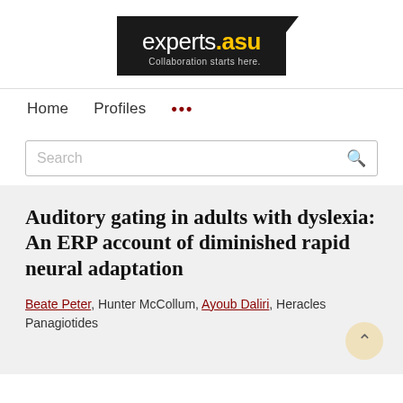[Figure (logo): experts.asu logo — black background rectangle with white text 'experts' and yellow '.asu', tagline 'Collaboration starts here.' in gray]
Home   Profiles   ...
Search
Auditory gating in adults with dyslexia: An ERP account of diminished rapid neural adaptation
Beate Peter, Hunter McCollum, Ayoub Daliri, Heracles Panagiotides